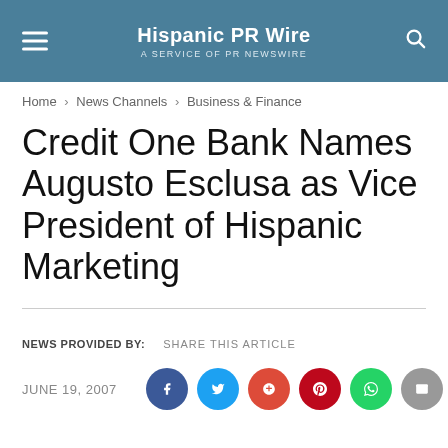Hispanic PR Wire — A SERVICE OF PR NEWSWIRE
Home › News Channels › Business & Finance
Credit One Bank Names Augusto Esclusa as Vice President of Hispanic Marketing
NEWS PROVIDED BY:   SHARE THIS ARTICLE
JUNE 19, 2007